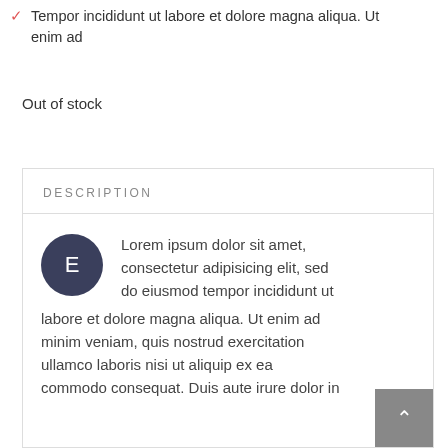Tempor incididunt ut labore et dolore magna aliqua. Ut enim ad
Out of stock
DESCRIPTION
Lorem ipsum dolor sit amet, consectetur adipisicing elit, sed do eiusmod tempor incididunt ut labore et dolore magna aliqua. Ut enim ad minim veniam, quis nostrud exercitation ullamco laboris nisi ut aliquip ex ea commodo consequat. Duis aute irure dolor in